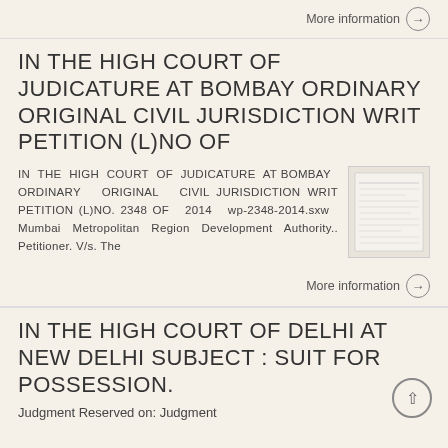More information →
IN THE HIGH COURT OF JUDICATURE AT BOMBAY ORDINARY ORIGINAL CIVIL JURISDICTION WRIT PETITION (L)NO OF
IN THE HIGH COURT OF JUDICATURE AT BOMBAY ORDINARY ORIGINAL CIVIL JURISDICTION WRIT PETITION (L)NO. 2348 OF 2014 wp-2348-2014.sxw Mumbai Metropolitan Region Development Authority.. Petitioner. V/s. The
[Figure (photo): Thumbnail image of a legal document page]
More information →
IN THE HIGH COURT OF DELHI AT NEW DELHI SUBJECT : SUIT FOR POSSESSION.
Judgment Reserved on: Judgment